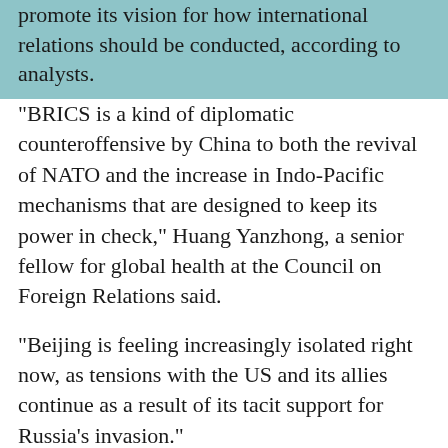promote its vision for how international relations should be conducted, according to analysts.
“BRICS is a kind of diplomatic counteroffensive by China to both the revival of NATO and the increase in Indo-Pacific mechanisms that are designed to keep its power in check,” Huang Yanzhong, a senior fellow for global health at the Council on Foreign Relations said.
“Beijing is feeling increasingly isolated right now, as tensions with the US and its allies continue as a result of its tacit support for Russia’s invasion.”
Phar Kim Beng, former director of the Political-Security Community at ASEAN’s secretariat in Jakarta, said Beijing would use the summit to “highlight and criticise the ubiquitous nature of American sanctions that are imposed on thousands of individuals and entities around